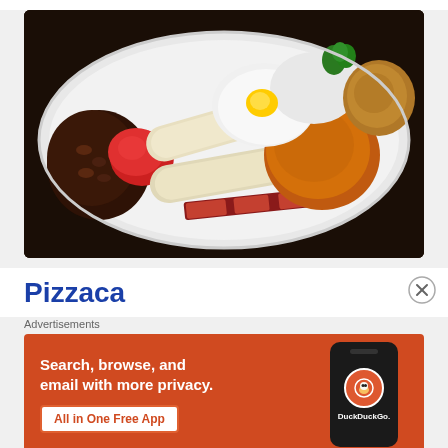[Figure (photo): A full English breakfast on a white oval plate: baked beans, tomato, white sausages, fried and poached eggs, hash brown, bacon, toast, and parsley garnish]
Pizzaca
Advertisements
[Figure (infographic): DuckDuckGo advertisement banner with orange background. Text reads: Search, browse, and email with more privacy. All in One Free App. Shows a smartphone with DuckDuckGo logo and wordmark.]